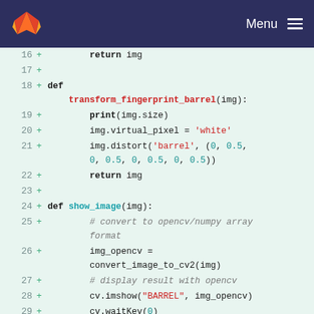GitLab navigation bar with logo and Menu
[Figure (screenshot): Code diff view showing Python code lines 16-31 on a mint-green background with line numbers and green plus signs indicating added lines.]